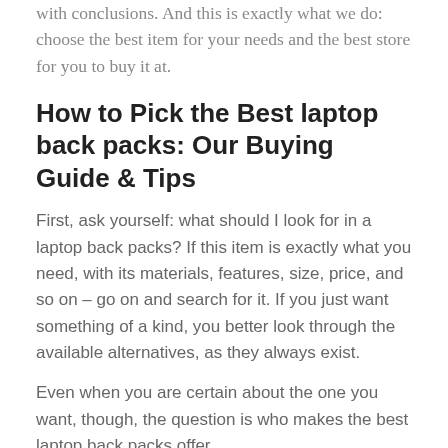with conclusions. And this is exactly what we do: choose the best item for your needs and the best store for you to buy it at.
How to Pick the Best laptop back packs: Our Buying Guide & Tips
First, ask yourself: what should I look for in a laptop back packs? If this item is exactly what you need, with its materials, features, size, price, and so on – go on and search for it. If you just want something of a kind, you better look through the available alternatives, as they always exist.
Even when you are certain about the one you want, though, the question is who makes the best laptop back packs offer.
So, what are the potential issues you better avoid?